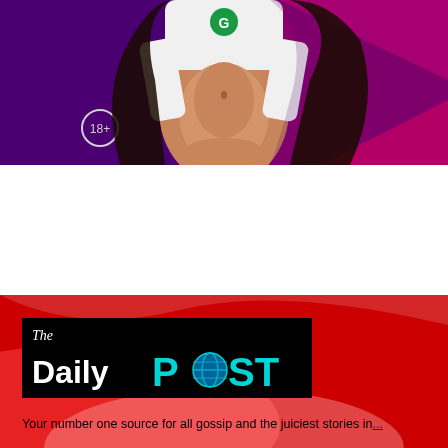[Figure (photo): Pregnant woman in white hoodie with exposed belly, posing against a purple and pink background. A '18+' circle badge is visible in the lower left of the image.]
[Figure (logo): The Daily POST logo — black background rectangle with 'The' in italic white script, 'Daily' in bold white sans-serif, and 'POST' in bold cyan/teal sans-serif with a globe icon replacing the 'O'.]
Your number one source for all gossip and the juiciest stories in...